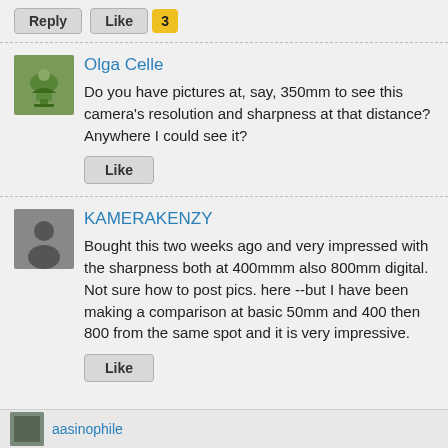Reply   Like  3
Olga Celle
Do you have pictures at, say, 350mm to see this camera's resolution and sharpness at that distance? Anywhere I could see it?
Like
KAMERAKENZY
Bought this two weeks ago and very impressed with the sharpness both at 400mmm also 800mm digital. Not sure how to post pics. here --but I have been making a comparison at basic 50mm and 400 then 800 from the same spot and it is very impressive.
Like